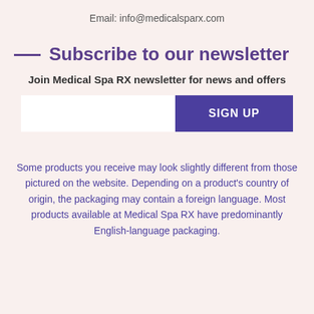Email: info@medicalsparx.com
Subscribe to our newsletter
Join Medical Spa RX newsletter for news and offers
[Figure (other): Email input field and SIGN UP button for newsletter subscription]
Some products you receive may look slightly different from those pictured on the website. Depending on a product's country of origin, the packaging may contain a foreign language. Most products available at Medical Spa RX have predominantly English-language packaging.